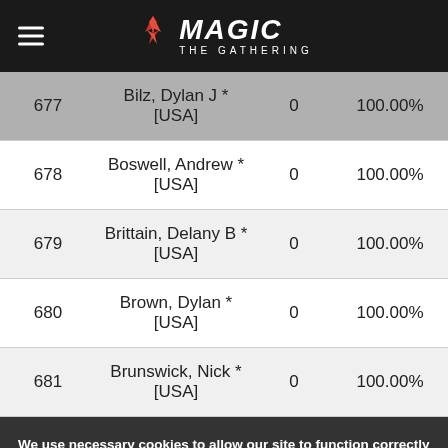MAGIC THE GATHERING
|  |  |  |  |
| --- | --- | --- | --- |
| 677 | Bilz, Dylan J * [USA] | 0 | 100.00% |
| 678 | Boswell, Andrew * [USA] | 0 | 100.00% |
| 679 | Brittain, Delany B * [USA] | 0 | 100.00% |
| 680 | Brown, Dylan * [USA] | 0 | 100.00% |
| 681 | Brunswick, Nick * [USA] | 0 | 100.00% |
We use necessary cookies to allow our site to function correctly and collect anonymous session data. Necessary cookies can be opted out through your browser settings. We also use optional cookies to personalize content and ads, provide social medial features and analyze web traffic. By clicking “OK, I agree,” you consent to optional cookies. (Learn more about cookies.)